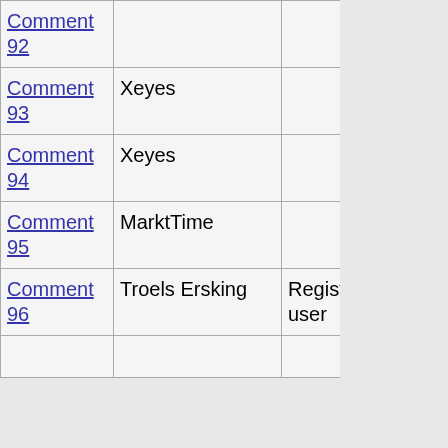| Comment | Name | Type | Date |
| --- | --- | --- | --- |
| Comment 92 |  |  | 10:37 GMT |
| Comment 93 | Xeyes |  | 03-Jun-2003 10:42 GMT |
| Comment 94 | Xeyes |  | 03-Jun-2003 10:47 GMT |
| Comment 95 | MarktTime |  | 03-Jun-2003 11:10 GMT |
| Comment 96 | Troels Ersking | Registered user | 03-Jun-2003 11:16 GMT |
|  |  |  | 03- |